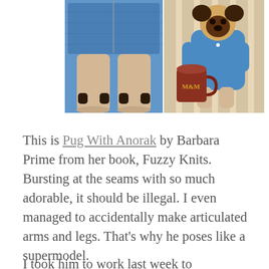[Figure (photo): Two photos of a knitted pug toy wearing a blue anorak sweater. Left photo shows the lower body and legs of the toy from above. Right photo shows the full pug toy sitting next to a decorative mug, wearing the blue anorak.]
This is Pug With Anorak by Barbara Prime from her book, Fuzzy Knits. Bursting at the seams with so much adorable, it should be illegal. I even managed to accidentally make articulated arms and legs. That's why he poses like a supermodel.
I took him to work last week to